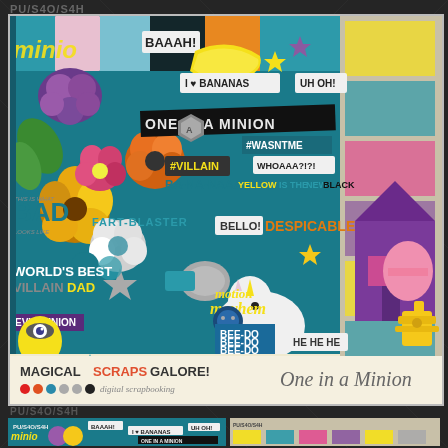PU/S4O/S4H
[Figure (illustration): Digital scrapbooking kit collage called 'One in a Minion' by Magical Scraps Galore! featuring colorful Minion-themed elements including flowers, word art tags (BAAAH!, I LOVE BANANAS, UH OH!, ONE IN A MINION, #WASNTME, #VILLAIN, WHOAAA?!?!, BA-NA-NAAA!, YELLOW IS THE NEW BLACK, BAD, FART-BLASTER, BELLO!, DESPICABLE, WORLD'S BEST VILLAIN DAD, EVIL MINION, BEE-DO BEE-DO BEE-DO, HE HE HE), unicorn, house, fire hydrant, buttons, stars, bananas, and colorful patterned papers in teal, yellow, purple, and pink.]
MAGICAL SCRAPS GALORE! • digital scrapbooking
One in a Minion
PU/S4O/S4H
[Figure (illustration): Small thumbnail preview of the One in a Minion digital scrapbooking kit showing mini collage and papers]